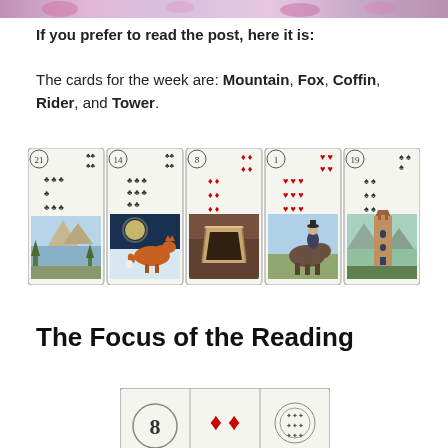[Figure (photo): Partial top strip of a floral photograph cropped at the top of the page]
If you prefer to read the post, here it is:
The cards for the week are: Mountain, Fox, Coffin, Rider, and Tower.
[Figure (illustration): Five Lenormand tarot cards in a row: Mountain (21, clubs), Fox (14, clubs), Coffin (8, diamonds), Rider (1, hearts), Tower (19, spades)]
The Focus of the Reading
[Figure (illustration): Partial view of a Lenormand card number 8 with two red diamond suit symbols visible, partially cut off at bottom of page]